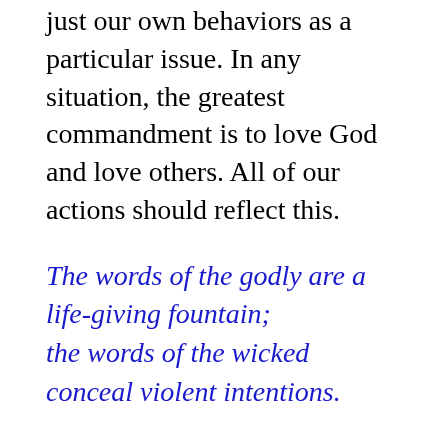just our own behaviors as a particular issue. In any situation, the greatest commandment is to love God and love others. All of our actions should reflect this.
The words of the godly are a life-giving fountain; the words of the wicked conceal violent intentions.
When a person who is good and godly speaks, we should listen. That person's words bring life to us. They are like water that pours from a fountain. That person's words, like the water, are plentiful and good. And the person's words bless everyone who listens to him. Ask